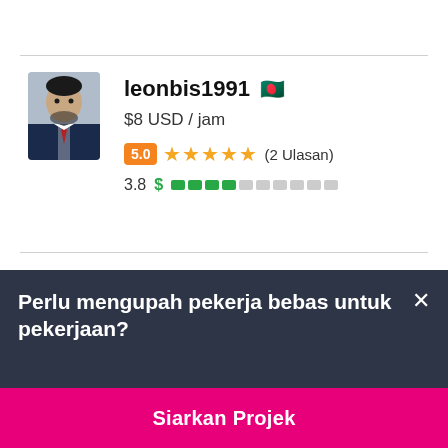[Figure (photo): Profile photo of freelancer leonbis1991, a man in a suit]
leonbis1991 🇧🇩
$8 USD / jam
5.0 ★★★★★ (2 Ulasan)
3.8 $ ████░░░░░░
Perlu mengupah pekerja bebas untuk pekerjaan?
Siarkan Projek